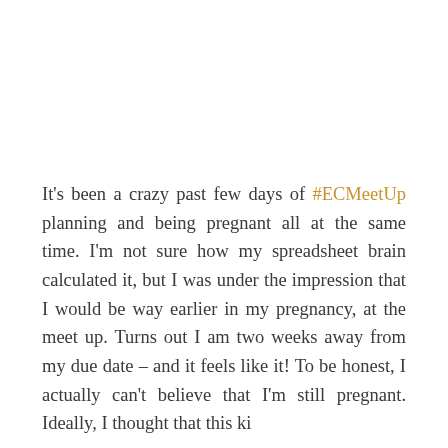It's been a crazy past few days of #ECMeetUp planning and being pregnant all at the same time. I'm not sure how my spreadsheet brain calculated it, but I was under the impression that I would be way earlier in my pregnancy, at the meet up. Turns out I am two weeks away from my due date – and it feels like it! To be honest, I actually can't believe that I'm still pregnant. Ideally, I thought that this kid...